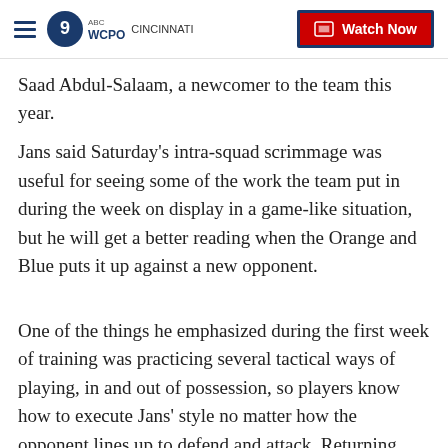WCPO Cincinnati | Watch Now
Saad Abdul-Salaam, a newcomer to the team this year.
Jans said Saturday's intra-squad scrimmage was useful for seeing some of the work the team put in during the week on display in a game-like situation, but he will get a better reading when the Orange and Blue puts it up against a new opponent.
One of the things he emphasized during the first week of training was practicing several tactical ways of playing, in and out of possession, so players know how to execute Jans' style no matter how the opponent lines up to defend and attack. Returning players already